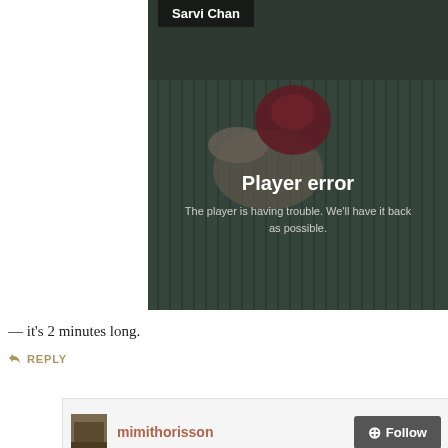[Figure (screenshot): Video player showing a person's hands with a red onion on a striped cloth surface. A 'Player error' overlay reads: 'The player is having trouble. We'll have it back as possible.' A dark name tag reads 'Sarvi Chan' at the top.]
— it's 2 minutes long.
REPLY
mimithorisson
Follow